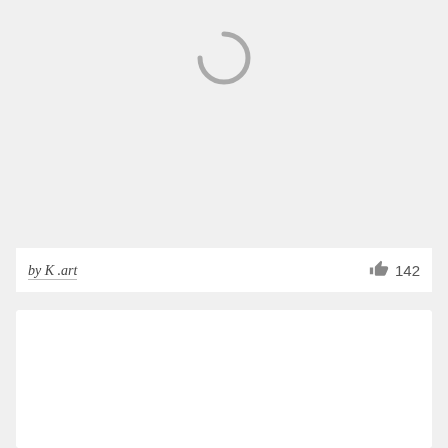[Figure (screenshot): Loading spinner (partial circle arc) on a light gray background card]
by K .art
142
[Figure (illustration): White card with curved arc text reading 'UDDERLY GOOD' in orange/gold letters at the bottom]